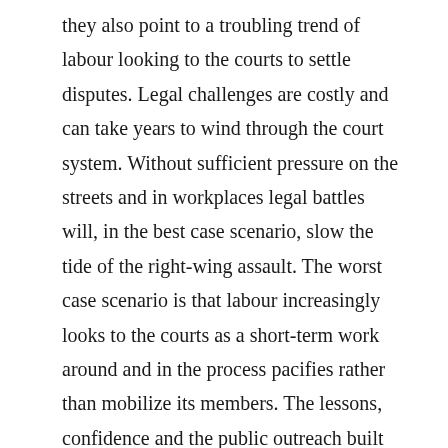they also point to a troubling trend of labour looking to the courts to settle disputes. Legal challenges are costly and can take years to wind through the court system. Without sufficient pressure on the streets and in workplaces legal battles will, in the best case scenario, slow the tide of the right-wing assault. The worst case scenario is that labour increasingly looks to the courts as a short-term work around and in the process pacifies rather than mobilize its members. The lessons, confidence and the public outreach built by organizing a broad membership fight back are worth more than a thousand favourable court decisions for the labour movement.